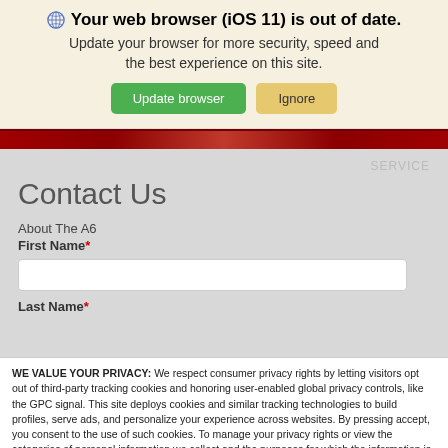[Figure (screenshot): Browser update notification banner with globe icon, title, subtitle, and two buttons (Update browser, Ignore)]
Your web browser (iOS 11) is out of date. Update your browser for more security, speed and the best experience on this site.
SERVICE
Contact Us
About The A6
First Name*
Last Name*
WE VALUE YOUR PRIVACY: We respect consumer privacy rights by letting visitors opt out of third-party tracking cookies and honoring user-enabled global privacy controls, like the GPC signal. This site deploys cookies and similar tracking technologies to build profiles, serve ads, and personalize your experience across websites. By pressing accept, you consent to the use of such cookies. To manage your privacy rights or view the categories of personal information we collect and the purposes for which the information is used, click here.
Language: English   ∨   Powered by ComplyAuto
Accept and Continue →   Privacy Policy